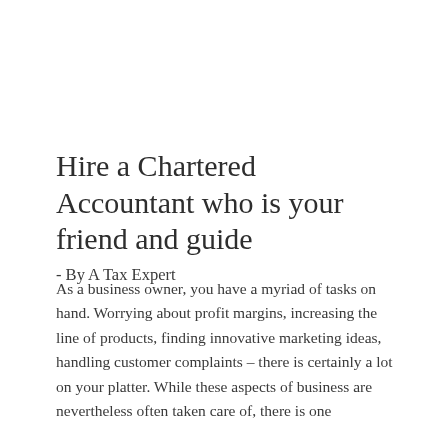Hire a Chartered Accountant who is your friend and guide
- By A Tax Expert
As a business owner, you have a myriad of tasks on hand. Worrying about profit margins, increasing the line of products, finding innovative marketing ideas, handling customer complaints – there is certainly a lot on your platter. While these aspects of business are nevertheless often taken care of, there is one